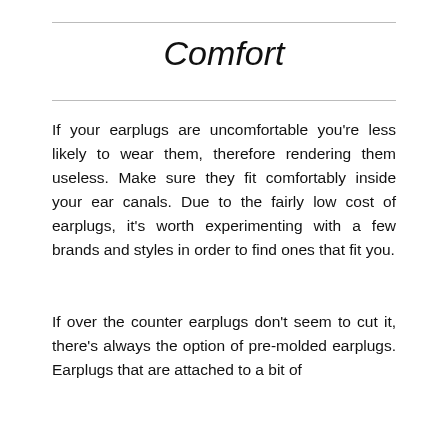Comfort
If your earplugs are uncomfortable you're less likely to wear them, therefore rendering them useless. Make sure they fit comfortably inside your ear canals. Due to the fairly low cost of earplugs, it's worth experimenting with a few brands and styles in order to find ones that fit you.
If over the counter earplugs don't seem to cut it, there's always the option of pre-molded earplugs. Earplugs that are attached to a bit of